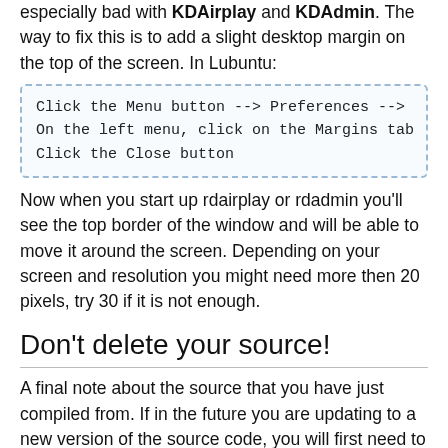especially bad with KDAirplay and KDAdmin. The way to fix this is to add a slight desktop margin on the top of the screen. In Lubuntu:
Click the Menu button --> Preferences -->
On the left menu, click on the Margins tab
Click the Close button
Now when you start up rdairplay or rdadmin you'll see the top border of the window and will be able to move it around the screen. Depending on your screen and resolution you might need more then 20 pixels, try 30 if it is not enough.
Don't delete your source!
A final note about the source that you have just compiled from. If in the future you are updating to a new version of the source code, you will first need to uninstall the current version. If you don't do this then the code remains linked to various existing libraries and the newer updated source will give you errors when you try and compile it.